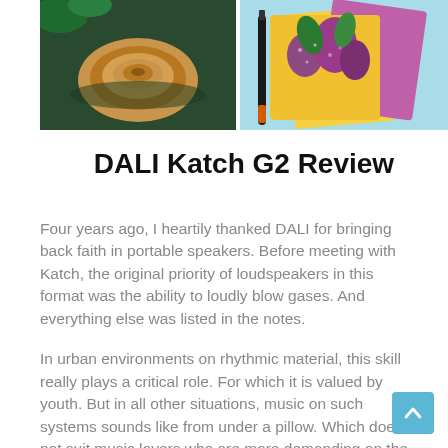[Figure (photo): Two side-by-side photos: left shows a spiral pastry/croissant on a dark background, right shows colorful illustrated art cards/notebooks with a pen on a light blue background]
DALI Katch G2 Review
Four years ago, I heartily thanked DALI for bringing back faith in portable speakers. Before meeting with Katch, the original priority of loudspeakers in this format was the ability to loudly blow gases. And everything else was listed in the notes.
In urban environments on rhythmic material, this skill really plays a critical role. For which it is valued by youth. But in all other situations, music on such systems sounds like from under a pillow. Which does not suit music lovers who are more demanding on the sound, such as us, at all.